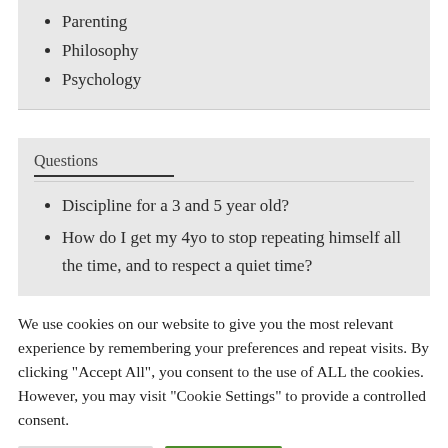Parenting
Philosophy
Psychology
Questions
Discipline for a 3 and 5 year old?
How do I get my 4yo to stop repeating himself all the time, and to respect a quiet time?
We use cookies on our website to give you the most relevant experience by remembering your preferences and repeat visits. By clicking "Accept All", you consent to the use of ALL the cookies. However, you may visit "Cookie Settings" to provide a controlled consent.